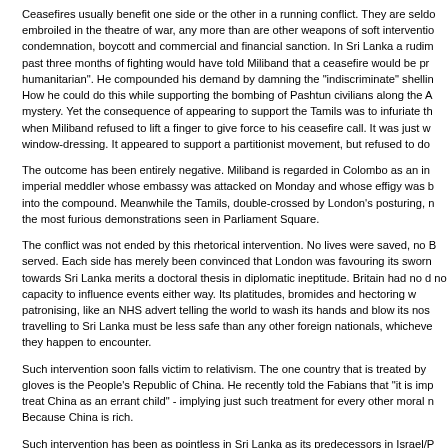Ceasefires usually benefit one side or the other in a running conflict. They are seldom neutral. Miliband, embroiled in the theatre of war, any more than are other weapons of soft intervention such as diplomatic condemnation, boycott and commercial and financial sanction. In Sri Lanka a rudimentary knowledge of the past three months of fighting would have told Miliband that a ceasefire would be presented as "not purely humanitarian". He compounded his demand by damning the "indiscriminate" shelling of civilians by Colombo. How he could do this while supporting the bombing of Pashtun civilians along the Afghan border passes mystery. Yet the consequence of appearing to support the Tamils was to infuriate the Sinhalese majority, when Miliband refused to lift a finger to give force to his ceasefire call. It was just words. It was window-dressing. It appeared to support a partitionist movement, but refused to do so.
The outcome has been entirely negative. Miliband is regarded in Colombo as an incompetent neo-imperial meddler whose embassy was attacked on Monday and whose effigy was burnt and hurled into the compound. Meanwhile the Tamils, double-crossed by London's posturing, mounted some of the most furious demonstrations seen in Parliament Square.
The conflict was not ended by this rhetorical intervention. No lives were saved, no British interest was served. Each side has merely been convinced that London was favouring its sworn enemy. British policy towards Sri Lanka merits a doctoral thesis in diplomatic ineptitude. Britain had no discernible interest and no capacity to influence events either way. Its platitudes, bromides and hectoring were merely patronising, like an NHS advert telling the world to wash its hands and blow its nose. Presumably those travelling to Sri Lanka must be less safe than any other foreign nationals, whichever side of the conflict they happen to encounter.
Such intervention soon falls victim to relativism. The one country that is treated by Miliband with kid gloves is the People's Republic of China. He recently told the Fabians that "it is impossible" for Britain to treat China as an errant child" - implying just such treatment for every other moral miscreant. Why? Because China is rich.
Such intervention has been as pointless in Sri Lanka as its predecessors in Israel/Palestine, Kosovo, Georgia, Iran, Burma, Sudan and Zimbabwe. Tony Blair's 1999 exegesis on so-called liberal interventionism, whatever its justification in the Balkans, has degenerated into a global vanity project for Gordon Brown and Miliband. Where the fine talk led to military action, at least it was serious.